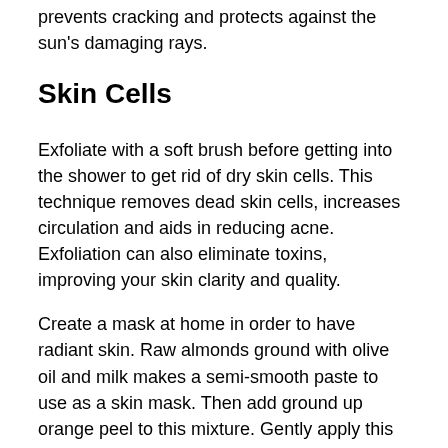prevents cracking and protects against the sun's damaging rays.
Skin Cells
Exfoliate with a soft brush before getting into the shower to get rid of dry skin cells. This technique removes dead skin cells, increases circulation and aids in reducing acne. Exfoliation can also eliminate toxins, improving your skin clarity and quality.
Create a mask at home in order to have radiant skin. Raw almonds ground with olive oil and milk makes a semi-smooth paste to use as a skin mask. Then add ground up orange peel to this mixture. Gently apply this to your face, and let it set for about a quarter of an hour. Gently cleanse your face with a washcloth and sooth the skin with an ice cube for a couple of minutes.
Avoid sleeping with makeup on. By the end of the day, your face is pretty dirty so it is important to wash it good and get all of the makeup off. When you spend sleep time with makeup on, your skin is suffocated and denied the oxygen that is necessary for cellular repair. Take it off before bed.
Avoid putting on wet socks or gloves. Gloves and socks that have